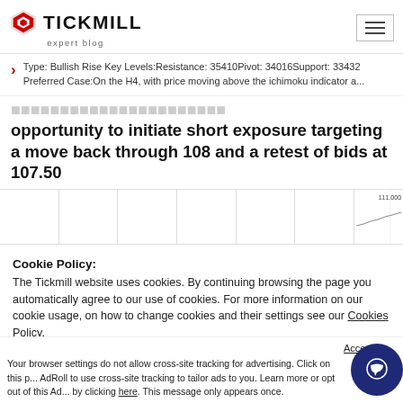TICKMILL expert blog
Type: Bullish Rise Key Levels:Resistance: 35410Pivot: 34016Support: 33432 Preferred Case:On the H4, with price moving above the ichimoku indicator a...
opportunity to initiate short exposure targeting a move back through 108 and a retest of bids at 107.50
[Figure (screenshot): Financial chart thumbnail strip showing price chart with value around 111.000]
Cookie Policy: The Tickmill website uses cookies. By continuing browsing the page you automatically agree to our use of cookies. For more information on our cookie usage, on how to change cookies and their settings see our Cookies Policy.
OK
Accept a... Your browser settings do not allow cross-site tracking for advertising. Click on this p... AdRoll to use cross-site tracking to tailor ads to you. Learn more or opt out of this Ad... by clicking here. This message only appears once.